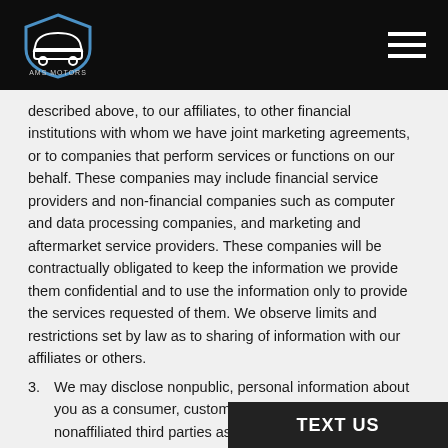AMS MOTORS
described above, to our affiliates, to other financial institutions with whom we have joint marketing agreements, or to companies that perform services or functions on our behalf. These companies may include financial service providers and non-financial companies such as computer and data processing companies, and marketing and aftermarket service providers. These companies will be contractually obligated to keep the information we provide them confidential and to use the information only to provide the services requested of them. We observe limits and restrictions set by law as to sharing of information with our affiliates or others.
3. We may disclose nonpublic, personal information about you as a consumer, customer or former customer, to nonaffiliated third parties as required by law.